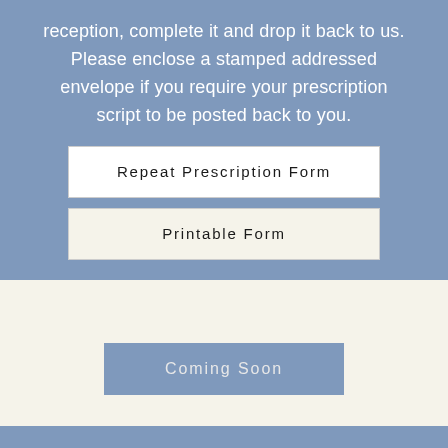reception, complete it and drop it back to us. Please enclose a stamped addressed envelope if you require your prescription script to be posted back to you.
Repeat Prescription Form
Printable Form
Coming Soon